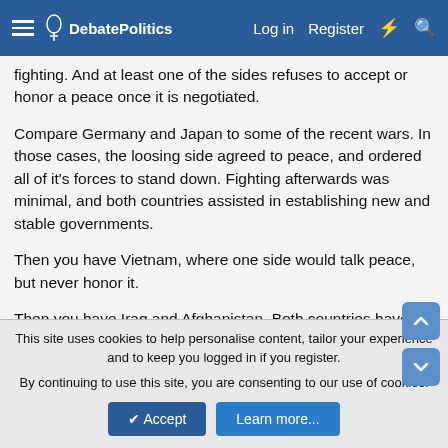DebatePolitics — Log in   Register
fighting. And at least one of the sides refuses to accept or honor a peace once it is negotiated.
Compare Germany and Japan to some of the recent wars. In those cases, the loosing side agreed to peace, and ordered all of it's forces to stand down. Fighting afterwards was minimal, and both countries assisted in establishing new and stable governments.
Then you have Vietnam, where one side would talk peace, but never honor it.
Then you have Iraq and Afghanistan. Both countries have governments that desire peace, but it is other groups that do not want it. Either they are unhappy and want all power themselves,
This site uses cookies to help personalise content, tailor your experience and to keep you logged in if you register.
By continuing to use this site, you are consenting to our use of cookies.